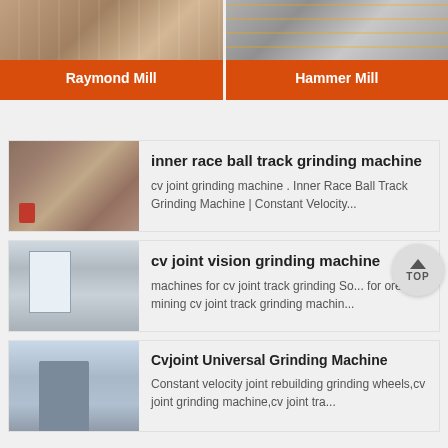[Figure (photo): Raymond Mill product card with orange label at bottom]
[Figure (photo): Hammer Mill product card with orange label at bottom]
[Figure (photo): Thumbnail image of crushing/grinding machine for inner race ball track listing]
inner race ball track grinding machine
cv joint grinding machine . Inner Race Ball Track Grinding Machine | Constant Velocity...
[Figure (photo): Thumbnail image of factory/mill interior for cv joint vision grinding machine listing]
cv joint vision grinding machine
machines for cv joint track grinding So... for ore mining cv joint track grinding machin...
[Figure (photo): Thumbnail image of cooling tower for Cvjoint Universal Grinding Machine listing]
Cvjoint Universal Grinding Machine
Constant velocity joint rebuilding grinding wheels,cv joint grinding machine,cv joint tra...